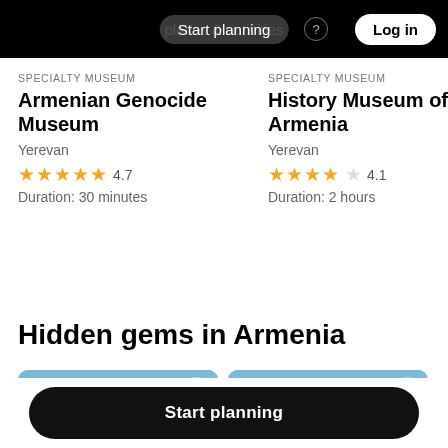Start planning | places & activities | Log in
SPECIALTY MUSEUM
Armenian Genocide Museum
Yerevan
★★★★★ 4.7
Duration: 30 minutes
SPECIALTY MUSEUM
History Museum of Armenia
Yerevan
★★★★☆ 4.1
Duration: 2 hours
Hidden gems in Armenia
[Figure (photo): Photo card showing a monument against a blue sky with a heart/bookmark icon]
[Figure (photo): Photo card showing a monument against a blue sky with a heart/bookmark icon]
Start planning